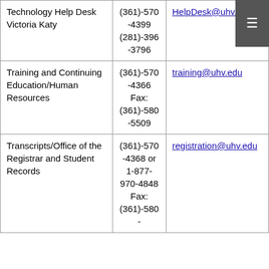| Department/Office | Phone | Email |
| --- | --- | --- |
| Technology Help Desk
Victoria Katy | (361)-570-4399
(281)-396-3796 | HelpDesk@uhv.edu |
| Training and Continuing Education/Human Resources | (361)-570-4366
Fax: (361)-580-5509 | training@uhv.edu |
| Transcripts/Office of the Registrar and Student Records | (361)-570-4368 or 1-877-970-4848
Fax: (361)-580- | registration@uhv.edu |